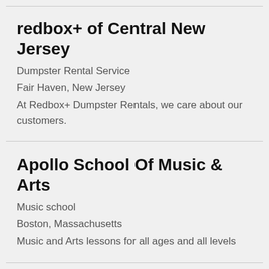redbox+ of Central New Jersey
Dumpster Rental Service
Fair Haven, New Jersey
At Redbox+ Dumpster Rentals, we care about our customers.
Apollo School Of Music & Arts
Music school
Boston, Massachusetts
Music and Arts lessons for all ages and all levels